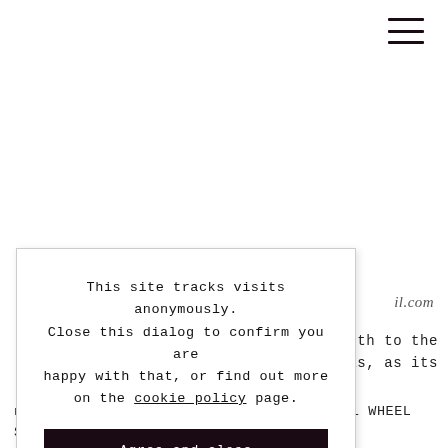[Figure (other): Hamburger menu icon (three horizontal lines) in top-right corner]
il.com
depth to the
Stellaris, as its
This site tracks visits anonymously. Close this dialog to confirm you are happy with that, or find out more on the cookie policy page.
Agree and close
name suggests. IT transtorms the etnical wheel such